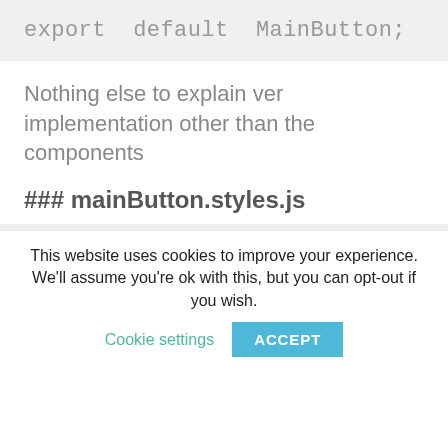export  default  MainButton;
Nothing else to explain ver implementation other than the components
### mainButton.styles.js
import {StyleSheet} from  'react-n
const  baseStyles = {
This website uses cookies to improve your experience. We'll assume you're ok with this, but you can opt-out if you wish.
Cookie settings
ACCEPT